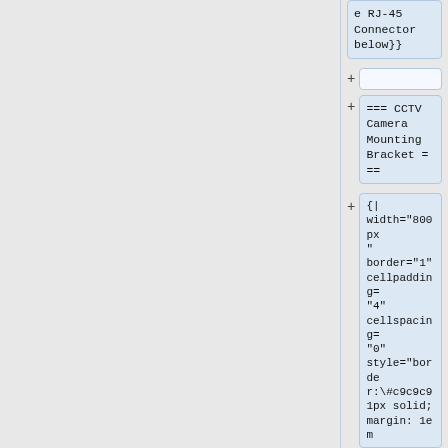e RJ-45 Connector below}}
+
=== CCTV Camera Mounting Bracket ===
{|
width="800px"
border="1"
cellpadding="4"
cellspacing="0"
style="border:\#c9c9c9 1px solid;
margin: 1em